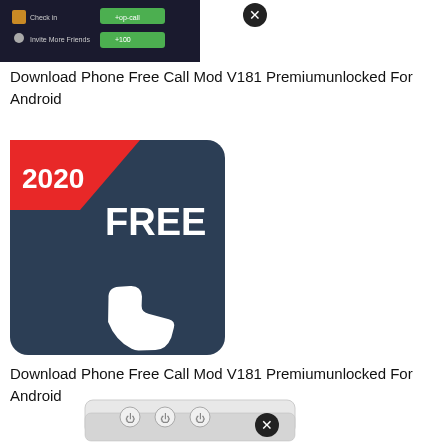[Figure (screenshot): Screenshot of a phone app interface showing a green check-in button and invite friends option, with an X close button overlay in the top right]
Download Phone Free Call Mod V181 Premiumunlocked For Android
[Figure (screenshot): App icon/promotional image for a phone calling app on dark blue background. Shows '2020' in red banner top-left, 'FREE' in large white text, and a white phone handset icon. X close button overlay.]
Download Phone Free Call Mod V181 Premiumunlocked For Android
[Figure (screenshot): Partial image of white physical hardware device (switches/controls) with an X close button overlay]